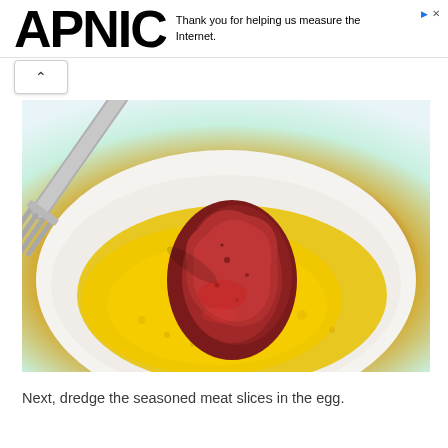APNIC — Thank you for helping us measure the Internet.
[Figure (photo): A piece of seasoned raw meat being held by a fork, dipped into beaten egg in a shallow white bowl. The egg appears bright yellow and the meat is dark reddish-brown.]
Next, dredge the seasoned meat slices in the egg.